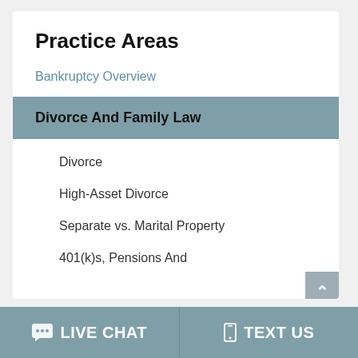Practice Areas
Bankruptcy Overview
Divorce And Family Law
Divorce
High-Asset Divorce
Separate vs. Marital Property
401(k)s, Pensions And
LIVE CHAT   TEXT US